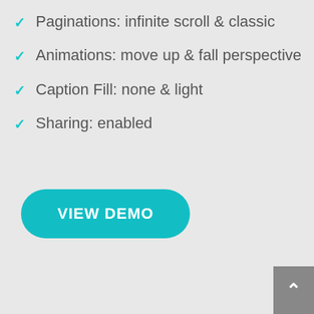Paginations: infinite scroll & classic
Animations: move up & fall perspective
Caption Fill: none & light
Sharing: enabled
VIEW DEMO